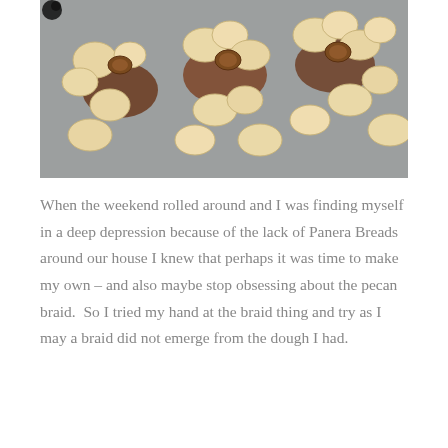[Figure (photo): Close-up photo of small pieces of dough and pecan nuts on a baking mat, showing the process of making pecan bread/pastry before baking.]
When the weekend rolled around and I was finding myself in a deep depression because of the lack of Panera Breads around our house I knew that perhaps it was time to make my own – and also maybe stop obsessing about the pecan braid.  So I tried my hand at the braid thing and try as I may a braid did not emerge from the dough I had.